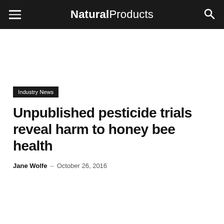Natural Products
Industry News
Unpublished pesticide trials reveal harm to honey bee health
Jane Wolfe – October 26, 2016